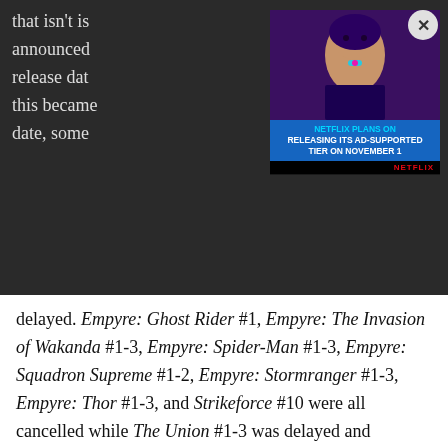that isn't is announced                         ch 2020 release dat                                   obvious, this became                                     n release date, some                                  celled or delayed. Empyre: Ghost Rider #1, Empyre: The Invasion of Wakanda #1-3, Empyre: Spider-Man #1-3, Empyre: Squadron Supreme #1-2, Empyre: Stormranger #1-3, Empyre: Thor #1-3, and Strikeforce #10 were all cancelled while The Union #1-3 was delayed and resolicited as part of King in Black.
[Figure (screenshot): Netflix ad overlay showing a woman with 'NETFLIX PLANS ON RELEASING ITS AD-SUPPORTED TIER ON NOVEMBER 1' text and a close button]
In my opinion, the most prominent example of this truncation was Thor's story line. Apart from being prominently featured at the very beginning, Thor is absent for most of the event, only to reappear at the